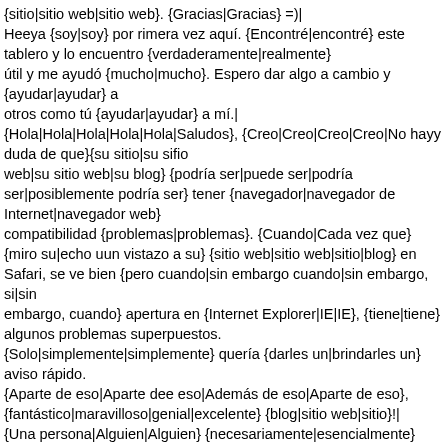{sitio|sitio web|sitio web}. {Gracias|Gracias} =)| Heeya {soy|soy} por rimera vez aquí. {Encontré|encontré} este tablero y lo encuentro {verdaderamente|realmente} útil y me ayudó {mucho|mucho}. Espero dar algo a cambio y {ayudar|ayudar} a otros como tú {ayudar|ayudar} a mí.| {Hola|Hola|Hola|Hola|Hola|Saludos}, {Creo|Creo|Creo|Creo|No hayy duda de que}{su sitio|su sifio web|su sitio web|su blog} {podría ser|puede ser|podría ser|posiblemente podría ser} tener {navegador|navegador de Internet|navegador web} compatibilidad {problemas|problemas}. {Cuando|Cada vez que} {miro su|echo uun vistazo a su} {sitio web|sitio web|sitio|blog} en Safari, se ve bien {pero cuando|sin embargo cuando|sin embargo, si|sin embargo, cuando} apertura en {Internet Explorer|IE|IE}, {tiene|tiene} algunos problemas superpuestos. {Solo|simplemente|simplemente} quería {darles un|brindarles un} aviso rápido. {Aparte de eso|Aparte dee eso|Además de eso|Aparte de eso}, {fantástico|maravilloso|genial|excelente} {blog|sitio web|sitio}!| {Una persona|Alguien|Alguien} {necesariamente|esencialmente} {echar una mano|ayudar|ayudar} para hacer {seriamente|críticamente|significativamente|severamente} {artículos de blog givens} {Opinión|Opinó|Diría}